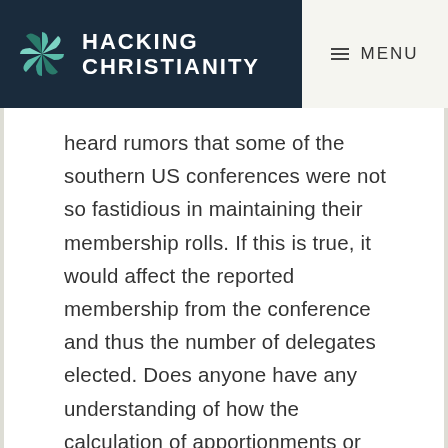HACKING CHRISTIANITY
heard rumors that some of the southern US conferences were not so fastidious in maintaining their membership rolls. If this is true, it would affect the reported membership from the conference and thus the number of delegates elected. Does anyone have any understanding of how the calculation of apportionments or record-keeping may reflect in the size of delegations to GC? Or is all this